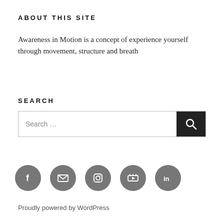ABOUT THIS SITE
Awareness in Motion is a concept of experience yourself through movement, structure and breath
SEARCH
[Figure (other): Search input box with text 'Search ...' and a dark search button with magnifying glass icon]
[Figure (other): Five social media icon circles (Facebook, Email/envelope, Instagram, YouTube, LinkedIn) in grey]
Proudly powered by WordPress